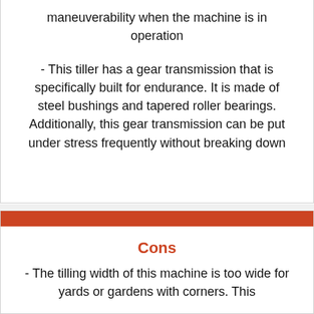maneuverability when the machine is in operation
- This tiller has a gear transmission that is specifically built for endurance. It is made of steel bushings and tapered roller bearings. Additionally, this gear transmission can be put under stress frequently without breaking down
Cons
- The tilling width of this machine is too wide for yards or gardens with corners. This